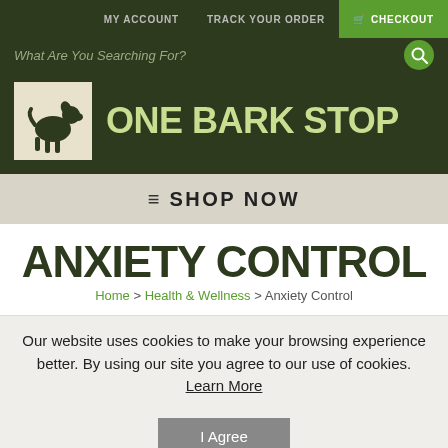MY ACCOUNT | TRACK YOUR ORDER | CHECKOUT
What Are You Searching For?
[Figure (logo): One Bark Stop logo with dog silhouette and green text]
SHOP NOW
ANXIETY CONTROL
Home > Health & Wellness > Anxiety Control
Our website uses cookies to make your browsing experience better. By using our site you agree to our use of cookies. Learn More
I Agree